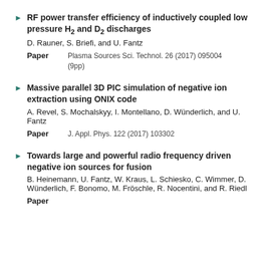RF power transfer efficiency of inductively coupled low pressure H2 and D2 discharges
D. Rauner, S. Briefi, and U. Fantz
Paper   Plasma Sources Sci. Technol. 26 (2017) 095004 (9pp)
Massive parallel 3D PIC simulation of negative ion extraction using ONIX code
A. Revel, S. Mochalskyy, I. Montellano, D. Wünderlich, and U. Fantz
Paper   J. Appl. Phys. 122 (2017) 103302
Towards large and powerful radio frequency driven negative ion sources for fusion
B. Heinemann, U. Fantz, W. Kraus, L. Schiesko, C. Wimmer, D. Wünderlich, F. Bonomo, M. Fröschle, R. Nocentini, and R. Riedl
Paper